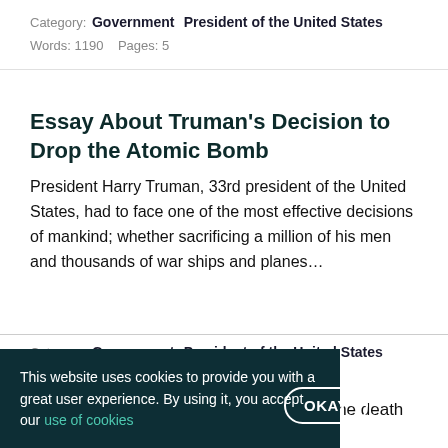Category: Government  President of the United States
Words: 1190    Pages: 5
Essay About Truman's Decision to Drop the Atomic Bomb
President Harry Truman, 33rd president of the United States, had to face one of the most effective decisions of mankind; whether sacrificing a million of his men and thousands of war ships and planes…
Category: Government  President of the United States
This website uses cookies to provide you with a great user experience. By using it, you accept our use of cookies
OKAY
The death of the last Kennedy was also the death of